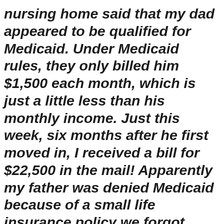nursing home said that my dad appeared to be qualified for Medicaid. Under Medicaid rules, they only billed him $1,500 each month, which is just a little less than his monthly income. Just this week, six months after he first moved in, I received a bill for $22,500 in the mail! Apparently my father was denied Medicaid because of a small life insurance policy we forgot about that has a cash value of $2,500. Can't I just give them that $2,500 instead of paying the full $22,500? – Rob
Rob, I've got bad news for you. From the facts you outlined, it looks like your father really does owe the nursing home $22,500. I believe that